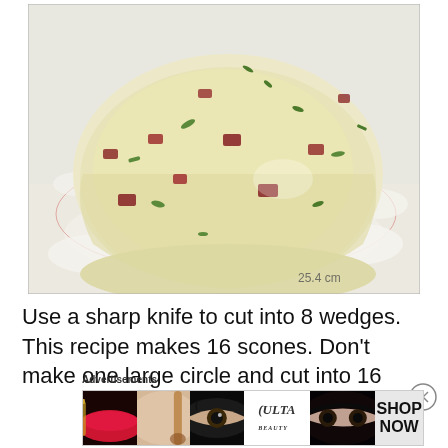[Figure (photo): A round disc of scone dough studded with green onions and bits of bacon/red pepper, resting on a floured silicone baking mat with circular measurement guides (showing 25.4 cm mark). The dough is pale cream-colored with visible mix-ins and sits on a white flour-dusted surface.]
Use a sharp knife to cut into 8 wedges. This recipe makes 16 scones. Don't make one large circle and cut into 16
Advertisements
[Figure (other): Ulta Beauty advertisement banner showing beauty/makeup themed images (lips with red lipstick and brush, eye with dramatic eye makeup, close-up of eyes), the Ulta Beauty logo in center, and 'SHOP NOW' text on the right side.]